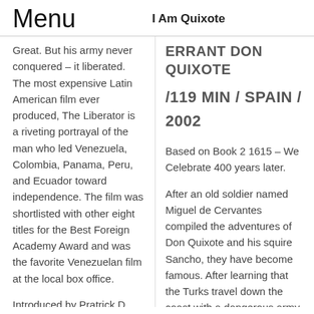Menu   I Am Quixote
Great. But his army never conquered – it liberated. The most expensive Latin American film ever produced, The Liberator is a riveting portrayal of the man who led Venezuela, Colombia, Panama, Peru, and Ecuador toward independence. The film was shortlisted with other eight titles for the Best Foreign Academy Award and was the favorite Venezuelan film at the local box office.
Introduced by Pratrick D. Duddy. Former US. Ambassador to Venezuela,
ERRANT DON QUIXOTE /119 MIN / SPAIN / 2002
Based on Book 2 1615 – We Celebrate 400 years later.
After an old soldier named Miguel de Cervantes compiled the adventures of Don Quixote and his squire Sancho, they have become famous. After learning that the Turks travel down the coast with a dangerous army, Don Alonso Quijano, the knight Don Quixote, opposed by his niece and housekeeper, will once again engage in a new